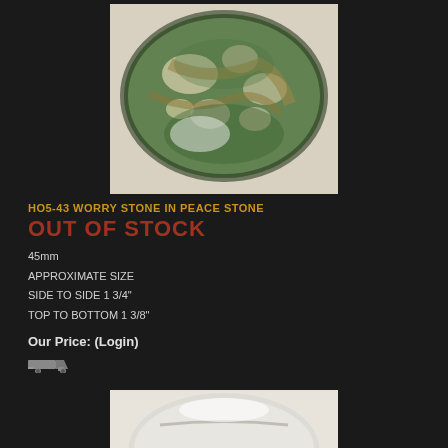[Figure (photo): Green and white mottled polished worry stone (peace stone) on light background]
HO5-43 WORRY STONE IN PEACE STONE
OUT OF STOCK
45mm
APPROXIMATE SIZE
SIDE TO SIDE 1 3/4"
TOP TO BOTTOM 1 3/8"
Our Price: (Login)
[Figure (photo): White/cream polished worry stone, partially visible at bottom of page]